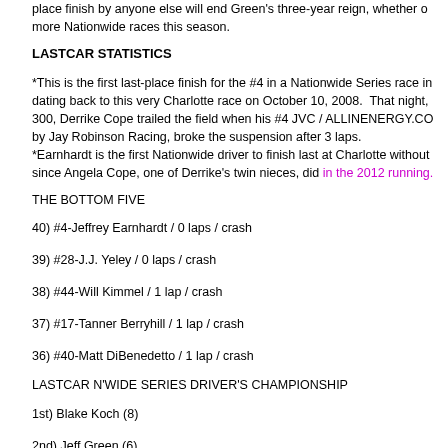place finish by anyone else will end Green's three-year reign, whether or not he runs more Nationwide races this season.
LASTCAR STATISTICS
*This is the first last-place finish for the #4 in a Nationwide Series race in, dating back to this very Charlotte race on October 10, 2008. That night, in the 300, Derrike Cope trailed the field when his #4 JVC / ALLINENERGY.CO by Jay Robinson Racing, broke the suspension after 3 laps.
*Earnhardt is the first Nationwide driver to finish last at Charlotte without since Angela Cope, one of Derrike's twin nieces, did in the 2012 running.
THE BOTTOM FIVE
40) #4-Jeffrey Earnhardt / 0 laps / crash
39) #28-J.J. Yeley / 0 laps / crash
38) #44-Will Kimmel / 1 lap / crash
37) #17-Tanner Berryhill / 1 lap / crash
36) #40-Matt DiBenedetto / 1 lap / crash
LASTCAR N'WIDE SERIES DRIVER'S CHAMPIONSHIP
1st) Blake Koch (8)
2nd) Jeff Green (6)
3rd) Kevin Lepage (3)
4th) Matt DiBenedetto, Ryan Ellis (2)
5th) Tanner Berryhill, Milka Duno, Jeffrey Earnhardt, Matt Frahm, Robert Richardson, Jr., Tim Schendel, Jimmy Weller, Josh Wise (1)